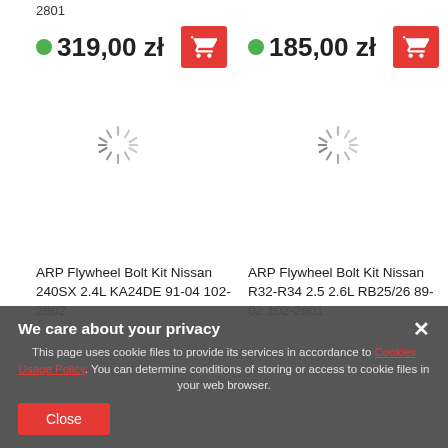2801
319,00 zł
185,00 zł
[Figure (illustration): Loading spinner icon (left)]
[Figure (illustration): Loading spinner icon (right)]
ARP Flywheel Bolt Kit Nissan 240SX 2.4L KA24DE 91-04 102-2802
ARP Flywheel Bolt Kit Nissan R32-R34 2.5 2.6L RB25/26 89-02 102-2801
We care about your privacy
This page uses cookie files to provide its services in accordance to Cookies Usage Policy. You can determine conditions of storing or access to cookie files in your web browser.
Close